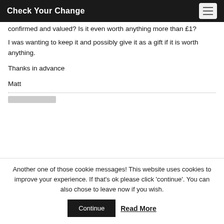Check Your Change
confirmed and valued? Is it even worth anything more than £1?
I was wanting to keep it and possibly give it as a gift if it is worth anything.
Thanks in advance
Matt
Another one of those cookie messages! This website uses cookies to improve your experience. If that's ok please click 'continue'. You can also chose to leave now if you wish.